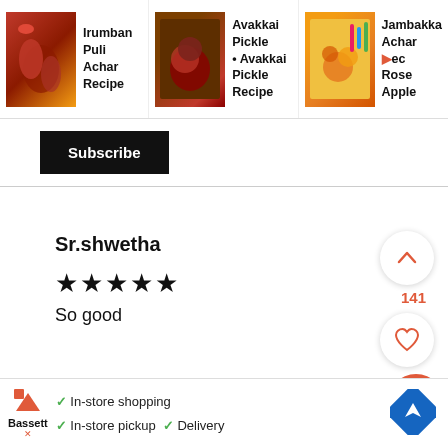[Figure (screenshot): Top navigation bar showing three recipe thumbnails: Irumban Puli Achar Recipe, Avakkai Pickle Avakkai Pickle Recipe, and Jambakka Achar Recipe Rose Apple]
Irumban Puli Achar Recipe
Avakkai Pickle • Avakkai Pickle Recipe
Jambakka Achar Recipe Rose Apple
Subscribe
Sr.shwetha
[Figure (other): Five filled star rating icons]
So good
REPLY
141
[Figure (screenshot): Bassett advertisement: In-store shopping, In-store pickup, Delivery with navigation icon]